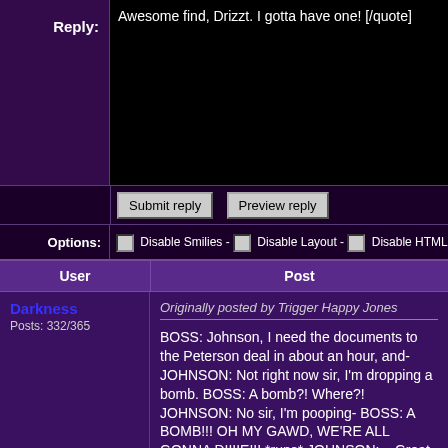Reply:
Awesome find, Drizzt. I gotta have one! [/quote]
Submit reply   Preview reply
Options:   Disable Smilies -   Disable Layout -   Disable HTML
| User | Post |
| --- | --- |
| Darkness
Posts: 332/365 | Originally posted by Trigger Happy Jones

BOSS: Johnson, I need the documents to the Peterson deal in about an hour, and-
JOHNSON: Not right now sir, I'm dropping a bomb.
BOSS: A bomb?! Where?!
JOHNSON: No sir, I'm pooping-
BOSS: A BOMB!!! OH MY GAWD, WE'RE ALL GONNA DIIIIE!!! *runs*
JOHNSON: ...Great. I just |